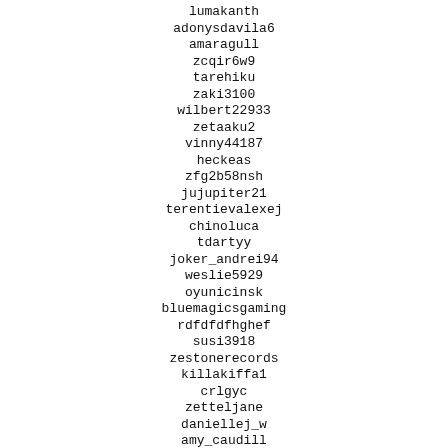lumakanth
adonysdavila6
amaragull
zcqir6w9
tarehiku
zaki3100
wilbert22933
zetaaku2
vinny44187
heckeas
zfg2b58nsh
jujupiter21
terentievalexej
chinoluca
tdartyy
joker_andrei94
weslie5929
oyunicinsk
bluemagicsgaming
rdfdfdfhghef
susi3918
zestonerecords
killakiffa1
crlgyc
zetteljane
daniellej_w
amy_caudill
waldon50268
zitounah13
susanjennifer75